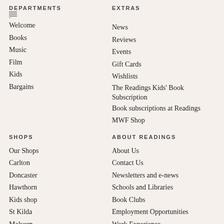DEPARTMENTS
Welcome
Books
Music
Film
Kids
Bargains
EXTRAS
News
Reviews
Events
Gift Cards
Wishlists
The Readings Kids' Book Subscription
Book subscriptions at Readings
MWF Shop
SHOPS
Our Shops
Carlton
Doncaster
Hawthorn
Kids shop
St Kilda
Malvern
State Library
Emporium
ABOUT READINGS
About Us
Contact Us
Newsletters and e-news
Schools and Libraries
Book Clubs
Employment Opportunities
Work Experience
Stocking self-published and small press books at Readings
History of Readings
The Readings Foundation